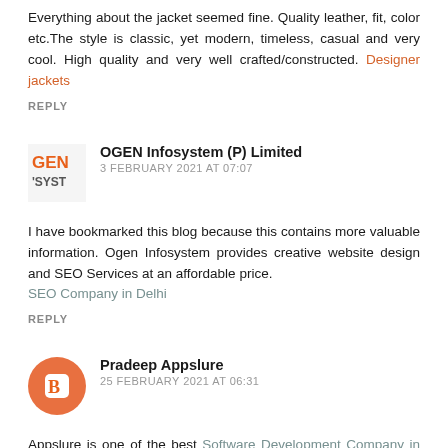Everything about the jacket seemed fine. Quality leather, fit, color etc.The style is classic, yet modern, timeless, casual and very cool. High quality and very well crafted/constructed. Designer jackets
REPLY
OGEN Infosystem (P) Limited
3 FEBRUARY 2021 AT 07:07
I have bookmarked this blog because this contains more valuable information. Ogen Infosystem provides creative website design and SEO Services at an affordable price. SEO Company in Delhi
REPLY
Pradeep Appslure
25 FEBRUARY 2021 AT 06:31
Appslure is one of the best Software Development Company in Delhi. There are many Software development Companies in Gurgaon, Mumbai, Noida. Appslure have most satisfied clients.